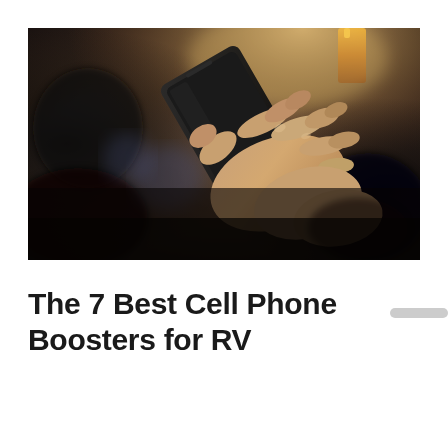[Figure (photo): A close-up photo of a person's hands holding a smartphone, with a blurred car interior background. Warm bokeh lighting visible in the upper right corner with an orange bottle partially visible.]
The 7 Best Cell Phone Boosters for RV